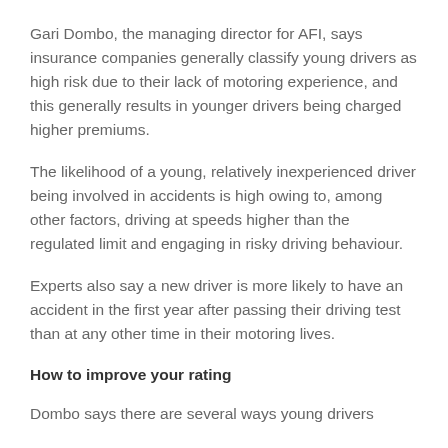Gari Dombo, the managing director for AFI, says insurance companies generally classify young drivers as high risk due to their lack of motoring experience, and this generally results in younger drivers being charged higher premiums.
The likelihood of a young, relatively inexperienced driver being involved in accidents is high owing to, among other factors, driving at speeds higher than the regulated limit and engaging in risky driving behaviour.
Experts also say a new driver is more likely to have an accident in the first year after passing their driving test than at any other time in their motoring lives.
How to improve your rating
Dombo says there are several ways young drivers